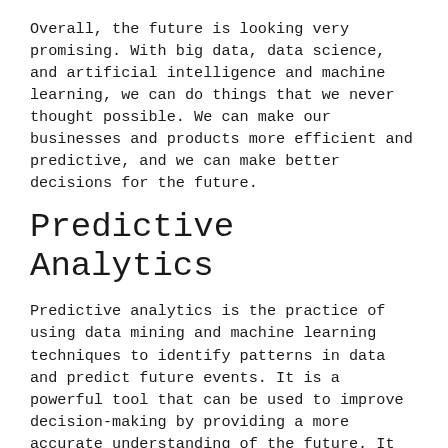Overall, the future is looking very promising. With big data, data science, and artificial intelligence and machine learning, we can do things that we never thought possible. We can make our businesses and products more efficient and predictive, and we can make better decisions for the future.
Predictive Analytics
Predictive analytics is the practice of using data mining and machine learning techniques to identify patterns in data and predict future events. It is a powerful tool that can be used to improve decision-making by providing a more accurate understanding of the future. It has already been used to great effect in a number of industries. For example, it has been used to improve the accuracy of weather forecasts, predict consumer behavior, and improve the efficiency of complex manufacturing processes.
The potential is huge and it is likely to play an